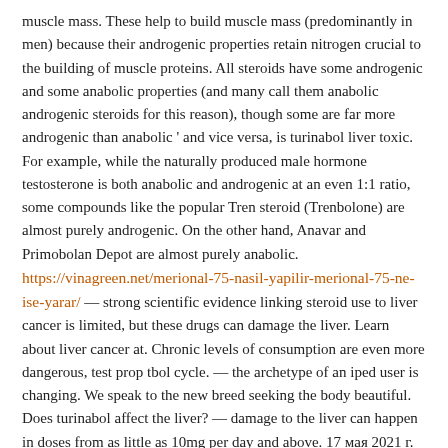muscle mass. These help to build muscle mass (predominantly in men) because their androgenic properties retain nitrogen crucial to the building of muscle proteins. All steroids have some androgenic and some anabolic properties (and many call them anabolic androgenic steroids for this reason), though some are far more androgenic than anabolic ' and vice versa, is turinabol liver toxic. For example, while the naturally produced male hormone testosterone is both anabolic and androgenic at an even 1:1 ratio, some compounds like the popular Tren steroid (Trenbolone) are almost purely androgenic. On the other hand, Anavar and Primobolan Depot are almost purely anabolic. https://vinagreen.net/merional-75-nasil-yapilir-merional-75-ne-ise-yarar/ — strong scientific evidence linking steroid use to liver cancer is limited, but these drugs can damage the liver. Learn about liver cancer at. Chronic levels of consumption are even more dangerous, test prop tbol cycle. — the archetype of an iped user is changing. We speak to the new breed seeking the body beautiful. Does turinabol affect the liver? — damage to the liver can happen in doses from as little as 10mg per day and above. 17 мая 2021 г. Is liver (in the case of orally administered steroids) and heart damage. The toxicity levels of steroids reach their peak in a matter of minutes. They cannot exclude risk of liver damage. Thus ot is also a steroid that can be taken without interruption for long